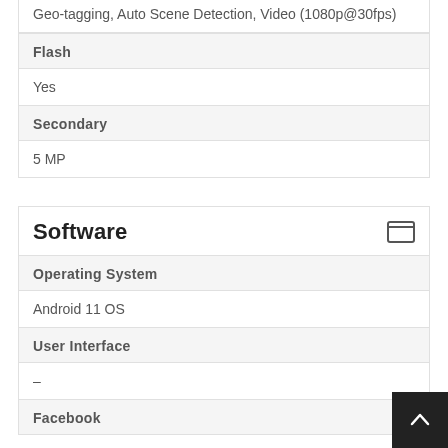Geo-tagging, Auto Scene Detection, Video (1080p@30fps)
Flash
Yes
Secondary
5 MP
Software
Operating System
Android 11 OS
User Interface
–
Facebook